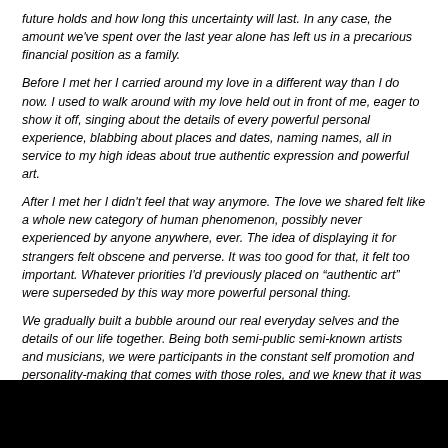future holds and how long this uncertainty will last. In any case, the amount we've spent over the last year alone has left us in a precarious financial position as a family.
Before I met her I carried around my love in a different way than I do now. I used to walk around with my love held out in front of me, eager to show it off, singing about the details of every powerful personal experience, blabbing about places and dates, naming names, all in service to my high ideas about true authentic expression and powerful art.
After I met her I didn't feel that way anymore. The love we shared felt like a whole new category of human phenomenon, possibly never experienced by anyone anywhere, ever. The idea of displaying it for strangers felt obscene and perverse. It was too good for that, it felt too important. Whatever priorities I'd previously placed on “authentic art” were superseded by this way more powerful personal thing.
We gradually built a bubble around our real everyday selves and the details of our life together. Being both semi-public semi-known artists and musicians, we were participants in the constant self promotion and personality-making that comes with those roles, and we knew that it was time to think about where to draw the line, eventually settling into a comfortable ambiguity, not touring together anymore, not putting our names on each others’ things so much, not denying anything either, just not being all loud about our love. I mean, just on a basic local level, we didn’t exactly